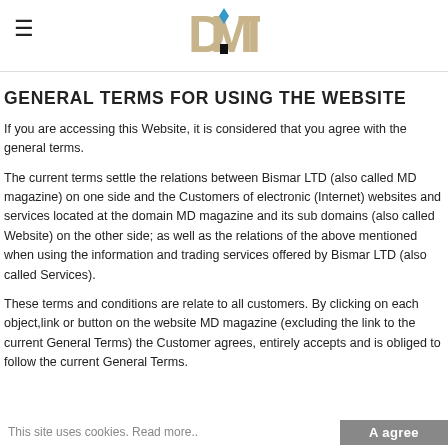DMT logo and hamburger menu
GENERAL TERMS FOR USING THE WEBSITE
If you are accessing this Website, it is considered that you agree with the general terms.
The current terms settle the relations between Bismar LTD (also called MD magazine) on one side and the Customers of electronic (Internet) websites and services located at the domain MD magazine and its sub domains (also called Website) on the other side; as well as the relations of the above mentioned when using the information and trading services offered by Bismar LTD (also called Services).
These terms and conditions are relate to all customers. By clicking on each object,link or button on the website MD magazine (excluding the link to the current General Terms) the Customer agrees, entirely accepts and is obliged to follow the current General Terms.
This site uses cookies. Read more.. Aagree